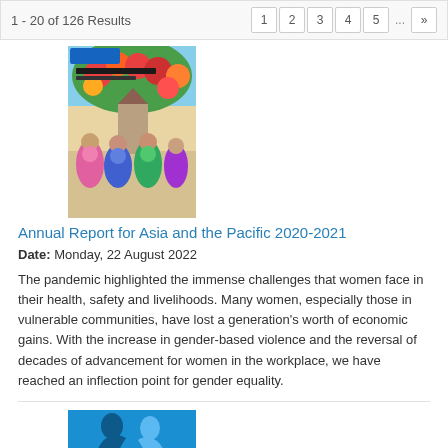1 - 20 of 126 Results  [pagination: 1 2 3 4 5 ... >>]
[Figure (illustration): Thumbnail cover of 'Annual Report for Asia and the Pacific 2020-2021' showing colorful illustration of women in traditional dress]
Annual Report for Asia and the Pacific 2020-2021
Date: Monday, 22 August 2022
The pandemic highlighted the immense challenges that women face in their health, safety and livelihoods. Many women, especially those in vulnerable communities, have lost a generation's worth of economic gains. With the increase in gender-based violence and the reversal of decades of advancement for women in the workplace, we have reached an inflection point for gender equality.
[Figure (logo): Blue silhouette logo thumbnail for second search result]